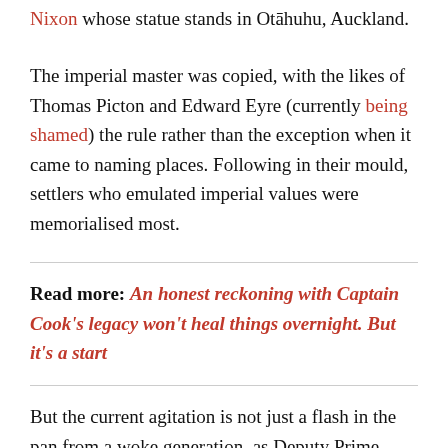Nixon whose statue stands in Otāhuhu, Auckland.
The imperial master was copied, with the likes of Thomas Picton and Edward Eyre (currently being shamed) the rule rather than the exception when it came to naming places. Following in their mould, settlers who emulated imperial values were memorialised most.
Read more: An honest reckoning with Captain Cook's legacy won't heal things overnight. But it's a start
But the current agitation is not just a flash in the pan from a woke generation, as Deputy Prime Minister Winston Peters implied. The storm has been brewing for the past decade, targeting historical figures